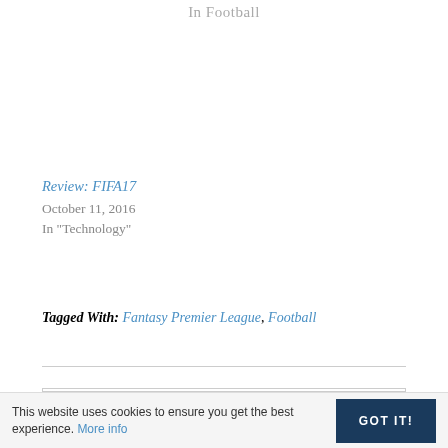In Football
Review: FIFA17
October 11, 2016
In "Technology"
Tagged With: Fantasy Premier League, Football
RECENT ARTICLES
This website uses cookies to ensure you get the best experience. More info